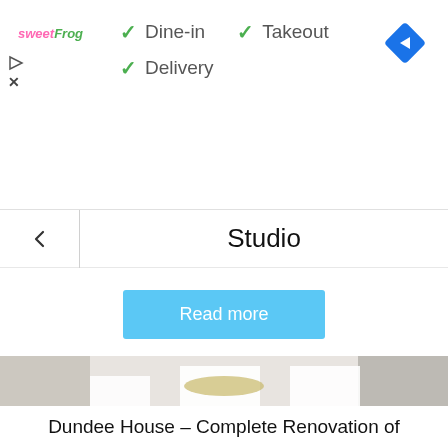[Figure (screenshot): Ad banner for sweetFrog showing dine-in, takeout, delivery options with green checkmarks, navigation diamond icon top right, play and close icons on left]
Studio
Read more
[Figure (photo): Living room interior with white walls, fireplace, colorful painting above mantle, bear sculpture, purple sofa, purple armchair, dark coffee table, chandelier]
Houses
Dundee House – Complete Renovation of